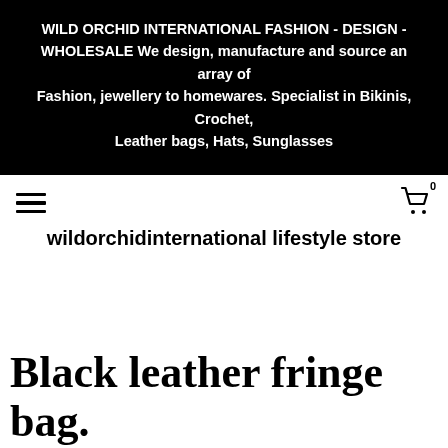WILD ORCHID INTERNATIONAL FASHION - DESIGN - WHOLESALE We design, manufacture and source an array of Fashion, jewellery to homewares. Specialist in Bikinis, Crochet, Leather bags, Hats, Sunglasses
wildorchidinternational lifestyle store
Black leather fringe bag.